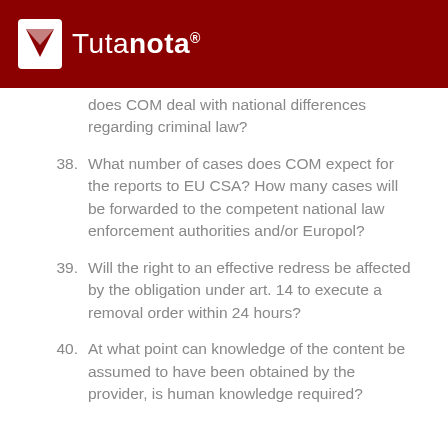Tutanota
does COM deal with national differences regarding criminal law?
38. What number of cases does COM expect for the reports to EU CSA? How many cases will be forwarded to the competent national law enforcement authorities and/or Europol?
39. Will the right to an effective redress be affected by the obligation under art. 14 to execute a removal order within 24 hours?
40. At what point can knowledge of the content be assumed to have been obtained by the provider, is human knowledge required?